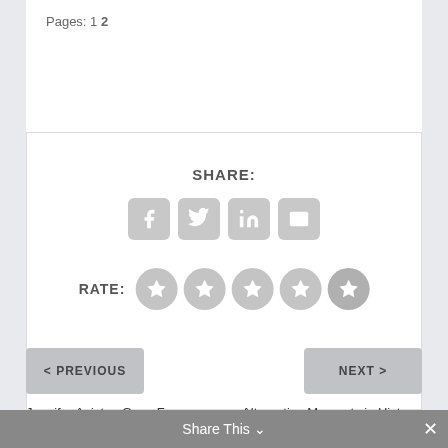Pages: 1 2
SHARE:
[Figure (infographic): Social share buttons: Facebook, Twitter, LinkedIn, Email]
RATE:
[Figure (infographic): Five star rating buttons (all unrated, gray)]
< PREVIOUS
NEXT >
Jennifer Aniston Goes From Freinds to Having No Freinds.
Alternative Moments in History: Napoleon Bonaparte
Share This ∨